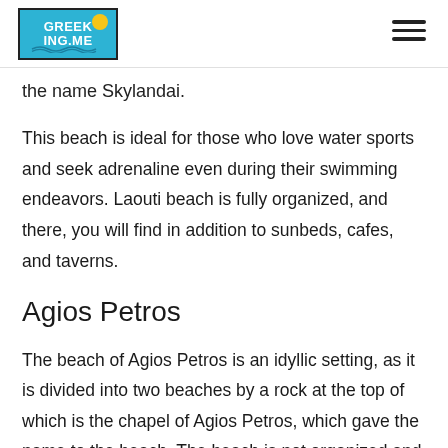GREEKING.ME
the name Skylandai.
This beach is ideal for those who love water sports and seek adrenaline even during their swimming endeavors. Laouti beach is fully organized, and there, you will find in addition to sunbeds, cafes, and taverns.
Agios Petros
The beach of Agios Petros is an idyllic setting, as it is divided into two beaches by a rock at the top of which is the chapel of Agios Petros, which gave the name to the beach. The beach is not organized and offers views of Syros. Here you will see an old shipwreck.